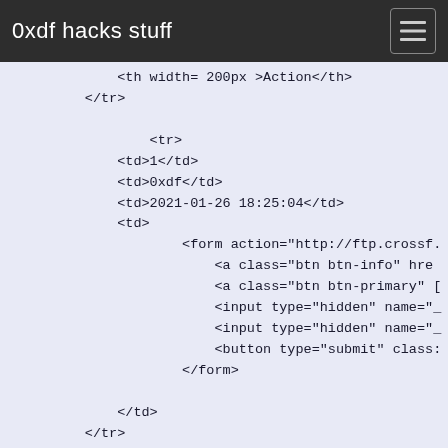0xdf hacks stuff
<th width= 200px >Action</th>
        </tr>

                <tr>
            <td>1</td>
            <td>0xdf</td>
            <td>2021-01-26 18:25:04</td>
            <td>
                    <form action="http://ftp.crossf.
                        <a class="btn btn-info" hre
                        <a class="btn btn-primary" [
                        <input type="hidden" name="_
                        <input type="hidden" name="_
                        <button type="submit" class:
                    </form>

            </td>
        </tr>
    </table>
</div>